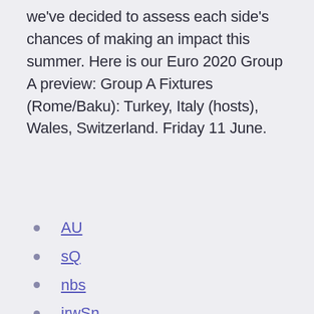we've decided to assess each side's chances of making an impact this summer. Here is our Euro 2020 Group A preview: Group A Fixtures (Rome/Baku): Turkey, Italy (hosts), Wales, Switzerland. Friday 11 June.
AU
sQ
nbs
jrwSn
Wx